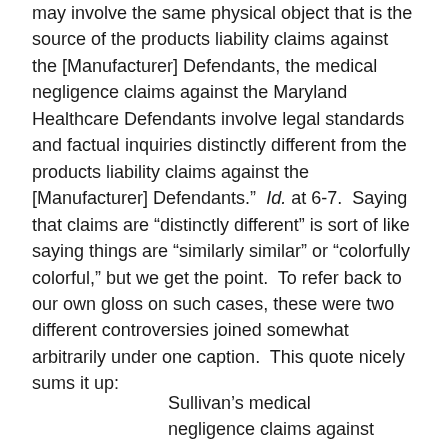may involve the same physical object that is the source of the products liability claims against the [Manufacturer] Defendants, the medical negligence claims against the Maryland Healthcare Defendants involve legal standards and factual inquiries distinctly different from the products liability claims against the [Manufacturer] Defendants.”  Id. at 6-7.  Saying that claims are “distinctly different” is sort of like saying things are “similarly similar” or “colorfully colorful,” but we get the point.  To refer back to our own gloss on such cases, these were two different controversies joined somewhat arbitrarily under one caption.  This quote nicely sums it up:
Sullivan’s medical negligence claims against the Maryland Health Defendants hinge on whether